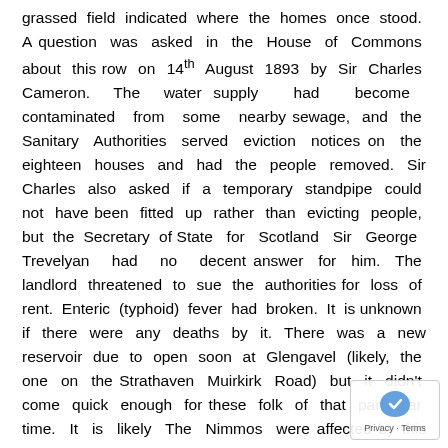grassed field indicated where the homes once stood. A question was asked in the House of Commons about this row on 14th August 1893 by Sir Charles Cameron. The water supply had become contaminated from some nearby sewage, and the Sanitary Authorities served eviction notices on the eighteen houses and had the people removed. Sir Charles also asked if a temporary standpipe could not have been fitted up rather than evicting people, but the Secretary of State for Scotland Sir George Trevelyan had no decent answer for him. The landlord threatened to sue the authorities for loss of rent. Enteric (typhoid) fever had broken. It is unknown if there were any deaths by it. There was a new reservoir due to open soon at Glengavel (likely, the one on the Strathaven Muirkirk Road) but it didn't come quick enough for these folk of that particular time. It is likely The Nimmos were affected by this event.
James Nimmo Snr was employed as a coal miner, as most males in this lively and thriving community. With...